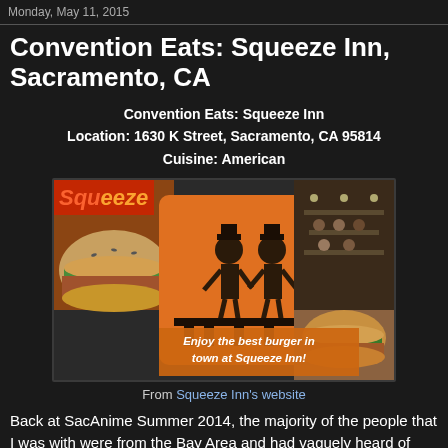Monday, May 11, 2015
Convention Eats: Squeeze Inn, Sacramento, CA
Convention Eats: Squeeze Inn
Location: 1630 K Street, Sacramento, CA 95814
Cuisine: American
[Figure (photo): Collage image from Squeeze Inn's website showing the Squeeze Inn logo on orange background with two cartoon figures at a counter, a burger, and restaurant interior. Text overlay: 'Enjoy the best burger in town at Squeeze Inn!']
From Squeeze Inn's website
Back at SacAnime Summer 2014, the majority of the people that I was with were from the Bay Area and had vaguely heard of Squeeze Inn for its legendary cheeseburger that consisted of a "cheese skirt."